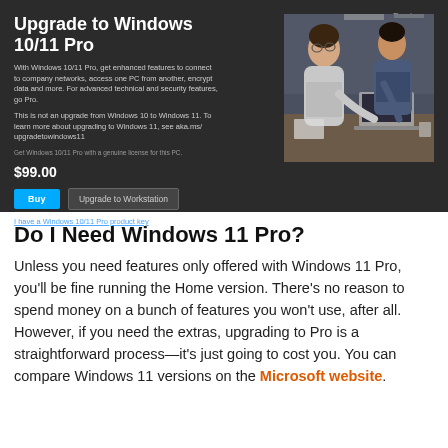[Figure (screenshot): Windows 10/11 Pro upgrade screen on a dark background. Shows title 'Upgrade to Windows 10/11 Pro', description text, price $99.00, Buy and Upgrade to Workstation buttons, a product key link, and a photo of two men working on a laptop. Watermark: groovyPost.com]
Do I Need Windows 11 Pro?
Unless you need features only offered with Windows 11 Pro, you’ll be fine running the Home version. There’s no reason to spend money on a bunch of features you won’t use, after all. However, if you need the extras, upgrading to Pro is a straightforward process—it’s just going to cost you. You can compare Windows 11 versions on the Microsoft website.